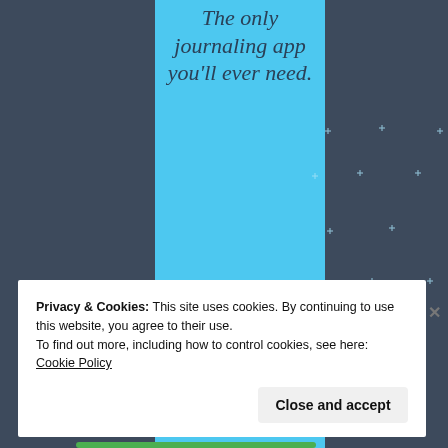[Figure (screenshot): App promotional page with dark blue-grey background and a central light blue vertical panel containing the text 'The only journaling app you'll ever need.' with sparkle decorations and a 'Get the app' dark button.]
The only journaling app you'll ever need.
Get the app
Privacy & Cookies: This site uses cookies. By continuing to use this website, you agree to their use.
To find out more, including how to control cookies, see here: Cookie Policy
Close and accept